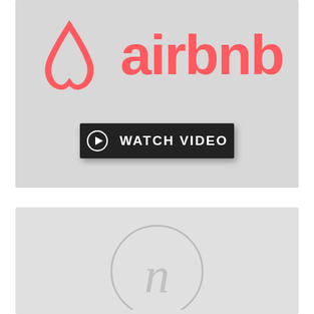[Figure (logo): Airbnb logo with red/coral triangle-arch symbol and 'airbnb' text in coral, on light gray background, with a dark 'WATCH VIDEO' button below the logo]
[Figure (logo): Partial view of a second logo or illustration in light gray tones, appearing to be a cursive 'n' or similar monogram, on light gray background]